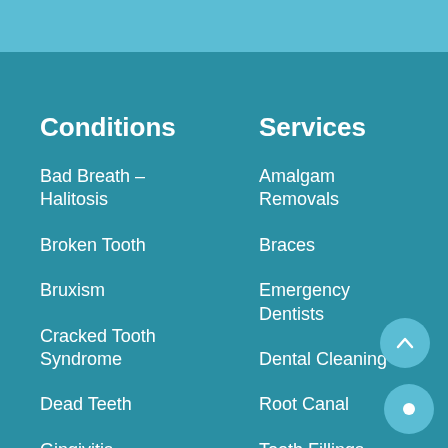Conditions
Bad Breath - Halitosis
Broken Tooth
Bruxism
Cracked Tooth Syndrome
Dead Teeth
Gingivitis
Dental Anxiety
Services
Amalgam Removals
Braces
Emergency Dentists
Dental Cleaning
Root Canal
Tooth Fillings
Wisdom Tooth